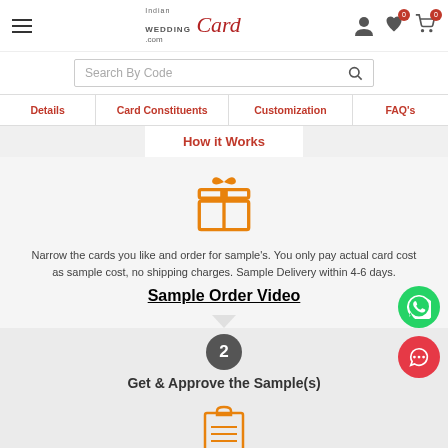IndianWeddingCard.com header with hamburger menu, logo, user icon, wishlist (0), cart (0)
Search By Code
Details | Card Constituents | Customization | FAQ's
How it Works
[Figure (illustration): Orange gift box icon with heart on top]
Narrow the cards you like and order for sample's. You only pay actual card cost as sample cost, no shipping charges. Sample Delivery within 4-6 days.
Sample Order Video
2
Get & Approve the Sample(s)
[Figure (illustration): Orange clipboard icon]